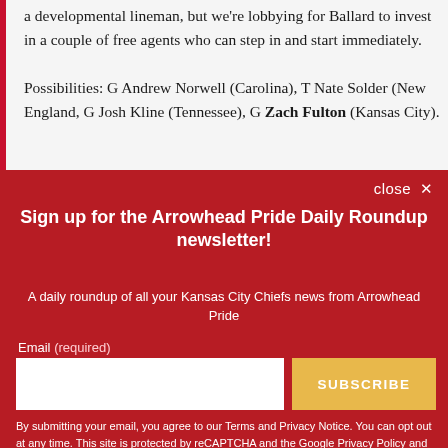a developmental lineman, but we're lobbying for Ballard to invest in a couple of free agents who can step in and start immediately.

Possibilities: G Andrew Norwell (Carolina), T Nate Solder (New England, G Josh Kline (Tennessee), G Zach Fulton (Kansas City).
Sign up for the Arrowhead Pride Daily Roundup newsletter!
A daily roundup of all your Kansas City Chiefs news from Arrowhead Pride
By submitting your email, you agree to our Terms and Privacy Notice. You can opt out at any time. This site is protected by reCAPTCHA and the Google Privacy Policy and Terms of Service apply.